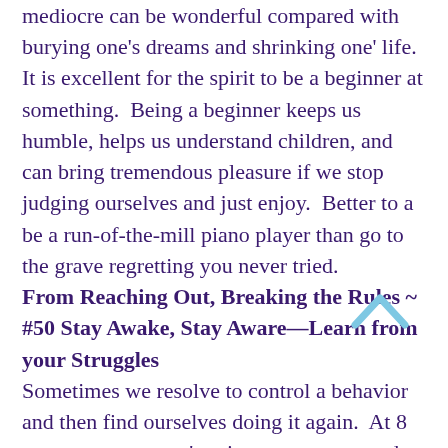mediocre can be wonderful compared with burying one's dreams and shrinking one' life.  It is excellent for the spirit to be a beginner at something.  Being a beginner keeps us humble, helps us understand children, and can bring tremendous pleasure if we stop judging ourselves and just enjoy.  Better to a be a run-of-the-mill piano player than go to the grave regretting you never tried.
From Reaching Out, Breaking the Rules ~ #50 Stay Awake, Stay Aware—Learn from your Struggles
Sometimes we resolve to control a behavior and then find ourselves doing it again.  At 8 am we say we aren't going to eat sugar and at 10 am we're munching on a sweet roll.  We tell ourselves we shouldn't spend more money and three hours later we're ordering a new dress from a catalogue.  It feels like something driving us that we can't control, but it's usually a substitute for a deeper, underlying need. Lonely?  Eat.  Angry?  Seduce someone.  Ashamed of a mistake?  Blame someone. The stay awake, stay aware approach helps you gain